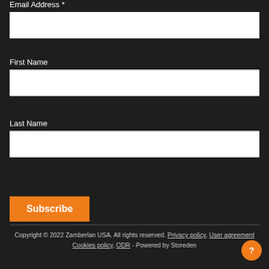Email Address *
First Name
Last Name
Subscribe
Copyright © 2022 Zamberlan USA. All rights reserved. Privacy policy, User agreement Cookies policy, ODR - Powered by Storeden